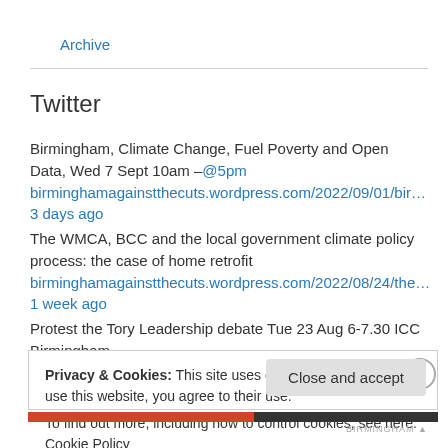Archive
Twitter
Birmingham, Climate Change, Fuel Poverty and Open Data, Wed 7 Sept 10am –@5pm
birminghamagainstthecuts.wordpress.com/2022/09/01/bir… 3 days ago
The WMCA, BCC and the local government climate policy process: the case of home retrofit
birminghamagainstthecuts.wordpress.com/2022/08/24/the… 1 week ago
Protest the Tory Leadership debate Tue 23 Aug 6-7.30 ICC Birmingham
Privacy & Cookies: This site uses cookies. By continuing to use this website, you agree to their use.
To find out more, including how to control cookies, see here: Cookie Policy
Close and accept